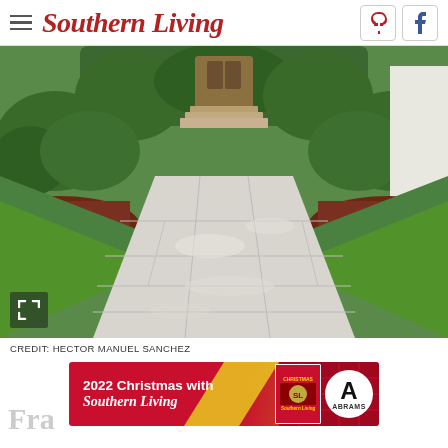Southern Living
[Figure (photo): A stone/marble paved walkway leading to a house entrance, flanked by manicured green boxwood hedges and lawn with dark mulch borders]
CREDIT: HECTOR MANUEL SANCHEZ
[Figure (infographic): Advertisement banner for '2022 Christmas with Southern Living' book published by Abrams]
Fra